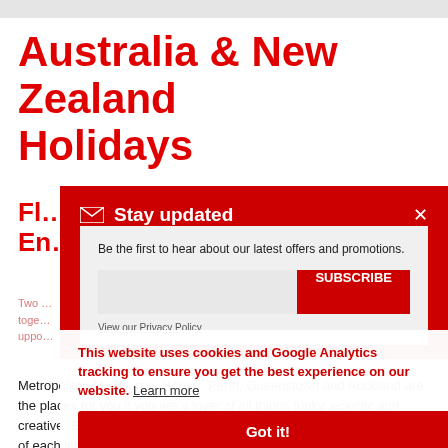[Figure (photo): Top strip of a partially visible image, cropped at top of page]
Australia & New Zealand Holidays
Fl…
En…
Two … toge… uppo…
[Figure (infographic): Stay updated email subscription popup with red header, envelope icon, close X button, description text, input field, SUBSCRIBE button, and View our Privacy Policy link]
[Figure (infographic): Cookie consent notice: 'This website uses cookies and Google Analytics tracking to ensure you get the best experience on our website. Learn more' with Got it! button]
Metropolitan Melbourne, Hobart, Perth, Queenstown and Auckland are the places for you if you are a lover of all things funky, eclectic and creative. Each of these vastly different cities has pumped their fair share of each into 'the